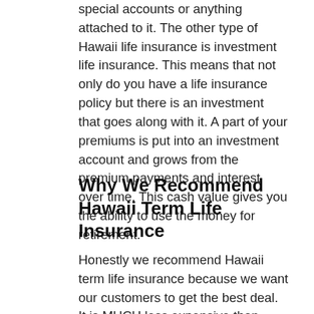special accounts or anything attached to it.  The other type of Hawaii life insurance is investment life insurance.  This means that not only do you have a life insurance policy but there is an investment that goes along with it.  A part of your premiums is put into an investment account and grows from the premium payments and interest over time.  This cash value gives you the ability to use the money for retirement.
Why We Recommend Hawaii Term Life Insurance
Honestly we recommend Hawaii term life insurance because we want our customers to get the best deal.  It is MUCH less expensive than Hawaii life insurance that has an